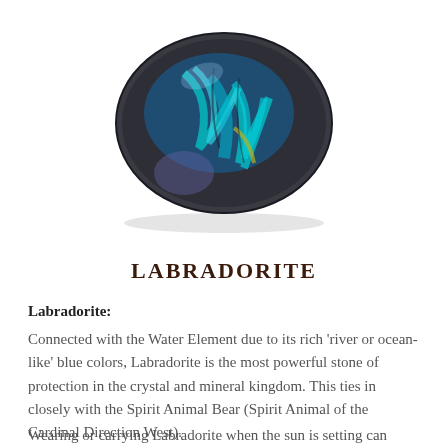[Figure (photo): A polished labradorite gemstone with iridescent blue and teal colors (labradorescence) on a dark grey background, oval shaped, photographed on white background.]
Labradorite
Labradorite:
Connected with the Water Element due to its rich 'river or ocean-like' blue colors, Labradorite is the most powerful stone of protection in the crystal and mineral kingdom. This ties in closely with the Spirit Animal Bear (Spirit Animal of the Cardinal Direction West).
Wearing or carrying Labradorite when the sun is setting can